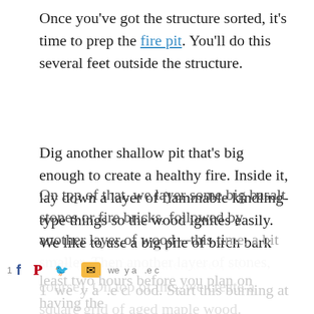Once you've got the structure sorted, it's time to prep the fire pit. You'll do this several feet outside the structure.
Dig another shallow pit that's big enough to create a healthy fire. Inside it, lay down a layer of flammable kindling-type things so the wood ignites easily. We like to use a big pile of birch bark strips (taken from fallen trees, of course). On top of this, we create a square grid of aged maple wood.
On top of that, we layer some big basalt stones or fire bricks, followed by another layer of wood—this time, a bit smaller. Then another layer of stones, [then] we [lay] a [pie]ce o[f] wood. Start this burning at least two hours before you plan on having the